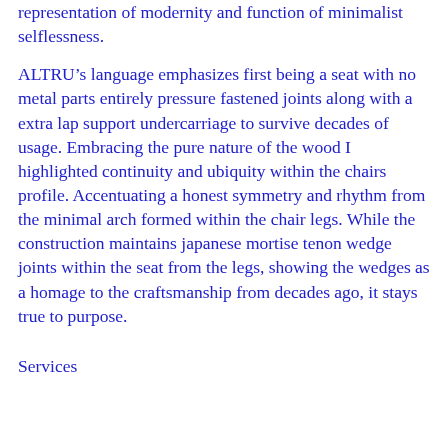representation of modernity and function of minimalist selflessness.
ALTRU’s language emphasizes first being a seat with no metal parts entirely pressure fastened joints along with a extra lap support undercarriage to survive decades of usage. Embracing the pure nature of the wood I highlighted continuity and ubiquity within the chairs profile. Accentuating a honest symmetry and rhythm from the minimal arch formed within the chair legs. While the construction maintains japanese mortise tenon wedge joints within the seat from the legs, showing the wedges as a homage to the craftsmanship from decades ago, it stays true to purpose.
Services